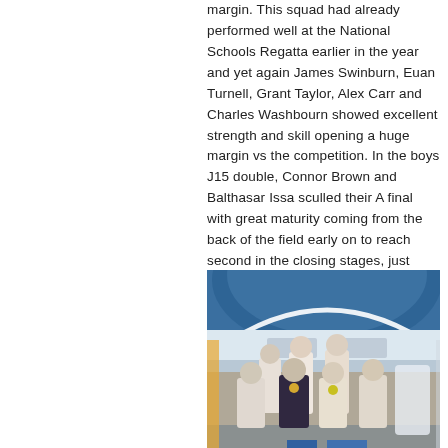margin. This squad had already performed well at the National Schools Regatta earlier in the year and yet again James Swinburn, Euan Turnell, Grant Taylor, Alex Carr and Charles Washbourn showed excellent strength and skill opening a huge margin vs the competition. In the boys J15 double, Connor Brown and Balthasar Issa sculled their A final with great maturity coming from the back of the field early on to reach second in the closing stages, just losing out for silver in an exciting finish and taking a well deserved bronze.
[Figure (photo): Group photo of young rowers (boys) standing in front of a British Rowing backdrop/banner, some wearing medals, taken at what appears to be a rowing regatta event.]